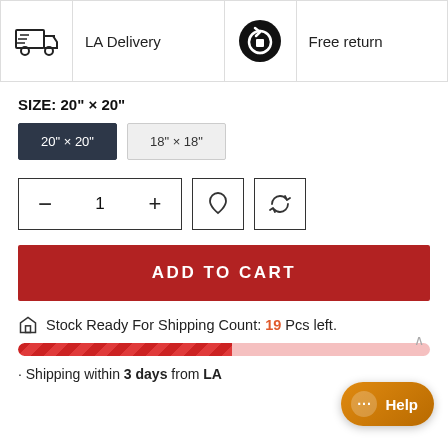| [truck icon] | LA Delivery | [return icon] | Free return |
SIZE: 20" × 20"
20" × 20"  18" × 18"
- 1 +
ADD TO CART
Stock Ready For Shipping Count: 19 Pcs left.
Shipping within 3 days from LA